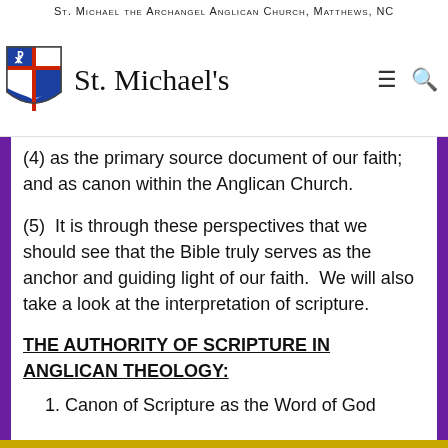St. Michael the Archangel Anglican Church, Matthews, NC
[Figure (logo): St. Michael's Anglican Church shield logo with red cross and Chi-Rho symbol, alongside site title 'St. Michael's' and navigation icons]
(4) as the primary source document of our faith; and as canon within the Anglican Church.
(5)  It is through these perspectives that we should see that the Bible truly serves as the anchor and guiding light of our faith.  We will also take a look at the interpretation of scripture.
THE AUTHORITY OF SCRIPTURE IN ANGLICAN THEOLOGY:
1. Canon of Scripture as the Word of God